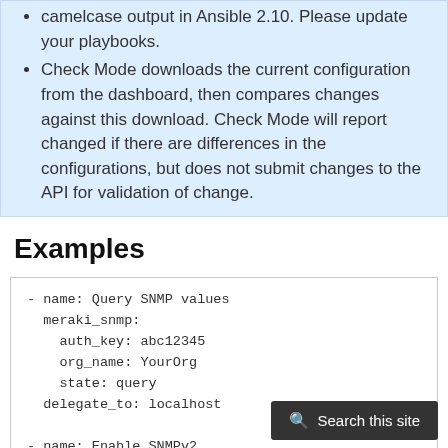camelcase output in Ansible 2.10. Please update your playbooks.
Check Mode downloads the current configuration from the dashboard, then compares changes against this download. Check Mode will report changed if there are differences in the configurations, but does not submit changes to the API for validation of change.
Examples
- name: Query SNMP values
  meraki_snmp:
    auth_key: abc12345
    org_name: YourOrg
    state: query
  delegate_to: localhost

- name: Enable SNMPv2
  meraki_snmp:
    auth_key: abc12345